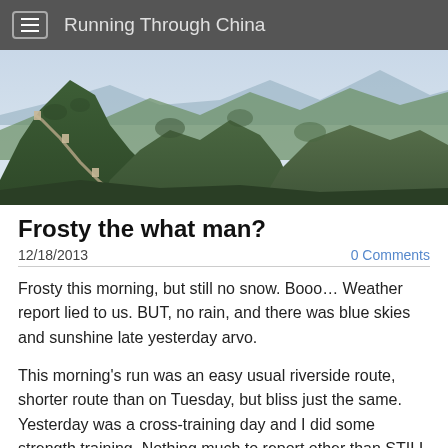Running Through China
[Figure (photo): Panoramic photo of the Great Wall of China winding over green mountain ridges under a hazy sky]
Frosty the what man?
12/18/2013
0 Comments
Frosty this morning, but still no snow. Booo… Weather report lied to us. BUT, no rain, and there was blue skies and sunshine late yesterday arvo.
This morning's run was an easy usual riverside route, shorter route than on Tuesday, but bliss just the same. Yesterday was a cross-training day and I did some strength training. Nothing much to report other than STILL haven't started that ab work I was on about last week,